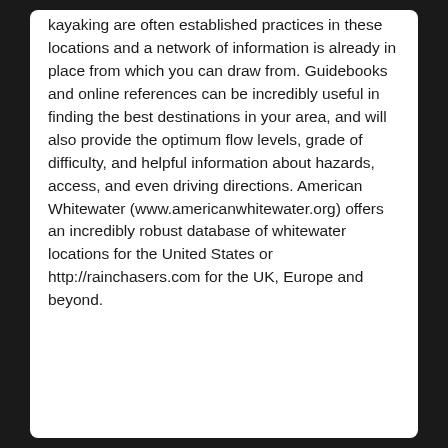kayaking are often established practices in these locations and a network of information is already in place from which you can draw from. Guidebooks and online references can be incredibly useful in finding the best destinations in your area, and will also provide the optimum flow levels, grade of difficulty, and helpful information about hazards, access, and even driving directions. American Whitewater (www.americanwhitewater.org) offers an incredibly robust database of whitewater locations for the United States or http://rainchasers.com for the UK, Europe and beyond.